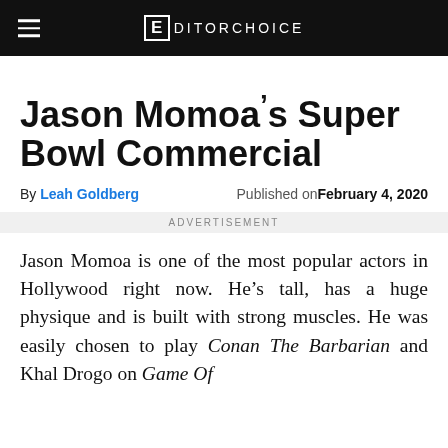EDITORCHOICE
Jason Momoa’s Super Bowl Commercial
By Leah Goldberg   Published on February 4, 2020
ADVERTISEMENT
Jason Momoa is one of the most popular actors in Hollywood right now. He’s tall, has a huge physique and is built with strong muscles. He was easily chosen to play Conan The Barbarian and Khal Drogo on Game Of